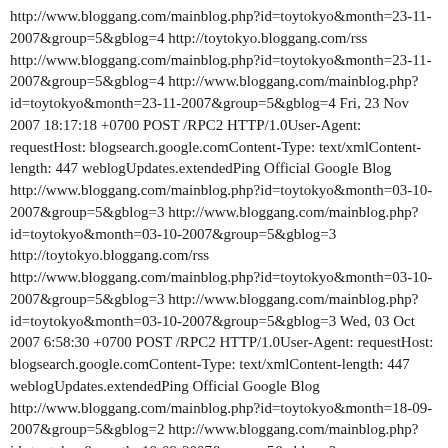http://www.bloggang.com/mainblog.php?id=toytokyo&month=23-11-2007&group=5&gblog=4 http://toytokyo.bloggang.com/rss http://www.bloggang.com/mainblog.php?id=toytokyo&month=23-11-2007&group=5&gblog=4 http://www.bloggang.com/mainblog.php?id=toytokyo&month=23-11-2007&group=5&gblog=4 Fri, 23 Nov 2007 18:17:18 +0700 POST /RPC2 HTTP/1.0User-Agent: requestHost: blogsearch.google.comContent-Type: text/xmlContent-length: 447 weblogUpdates.extendedPing Official Google Blog http://www.bloggang.com/mainblog.php?id=toytokyo&month=03-10-2007&group=5&gblog=3 http://www.bloggang.com/mainblog.php?id=toytokyo&month=03-10-2007&group=5&gblog=3 http://toytokyo.bloggang.com/rss http://www.bloggang.com/mainblog.php?id=toytokyo&month=03-10-2007&group=5&gblog=3 http://www.bloggang.com/mainblog.php?id=toytokyo&month=03-10-2007&group=5&gblog=3 Wed, 03 Oct 2007 6:58:30 +0700 POST /RPC2 HTTP/1.0User-Agent: requestHost: blogsearch.google.comContent-Type: text/xmlContent-length: 447 weblogUpdates.extendedPing Official Google Blog http://www.bloggang.com/mainblog.php?id=toytokyo&month=18-09-2007&group=5&gblog=2 http://www.bloggang.com/mainblog.php?id=toytokyo&month=18-09-2007&group=5&gblog=2 http://toytokyo.bloggang.com/rss http://www.bloggang.com/mainblog.php?id=toytokyo&month=18-09-2007&group=5&gblog=2